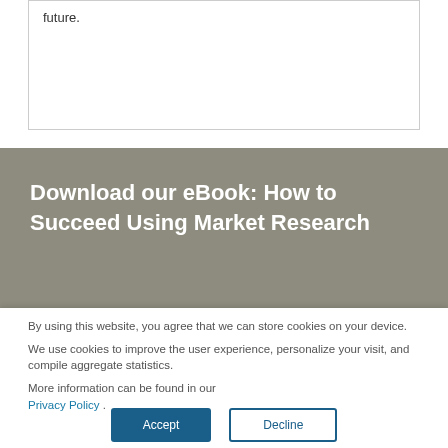future.
Download our eBook: How to Succeed Using Market Research
By using this website, you agree that we can store cookies on your device.
We use cookies to improve the user experience, personalize your visit, and compile aggregate statistics.
More information can be found in our Privacy Policy .